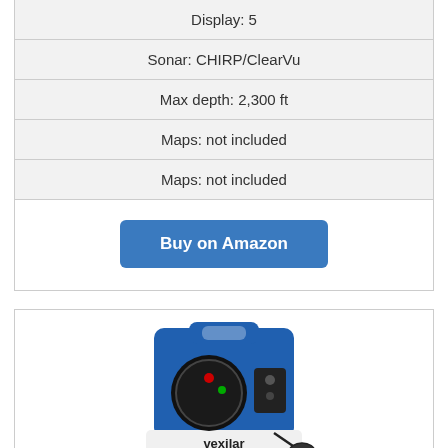| Display: 5 |
| Sonar: CHIRP/ClearVu |
| Max depth: 2,300 ft |
| Maps: not included |
| Maps: not included |
| [Buy on Amazon button] |
[Figure (photo): Vexilar portable ice fishing sonar device in blue casing with circular flasher display, transducer cable, and Vexilar logo on the front]
Vexilar's GP1812 FL18